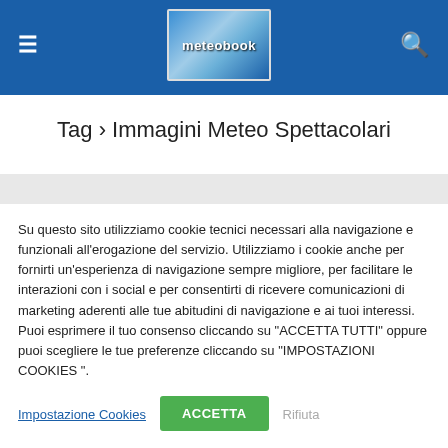meteobook — navigation header with menu and search icons
Tag › Immagini Meteo Spettacolari
Su questo sito utilizziamo cookie tecnici necessari alla navigazione e funzionali all'erogazione del servizio. Utilizziamo i cookie anche per fornirti un'esperienza di navigazione sempre migliore, per facilitare le interazioni con i social e per consentirti di ricevere comunicazioni di marketing aderenti alle tue abitudini di navigazione e ai tuoi interessi. Puoi esprimere il tuo consenso cliccando su "ACCETTA TUTTI" oppure puoi scegliere le tue preferenze cliccando su "IMPOSTAZIONI COOKIES ".
Impostazione Cookies
ACCETTA
Rifiuta